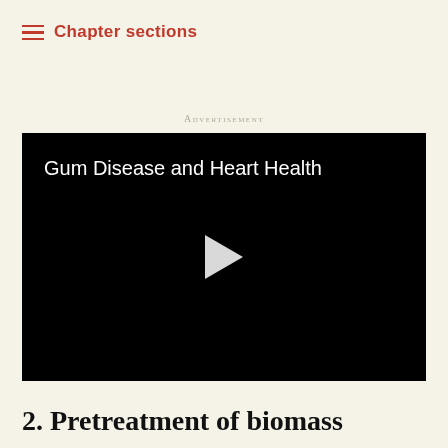Chapter sections
Advertisement
[Figure (screenshot): A video thumbnail with black background showing the title 'Gum Disease and Heart Health' in white text with a white play button triangle in the center]
2. Pretreatment of biomass